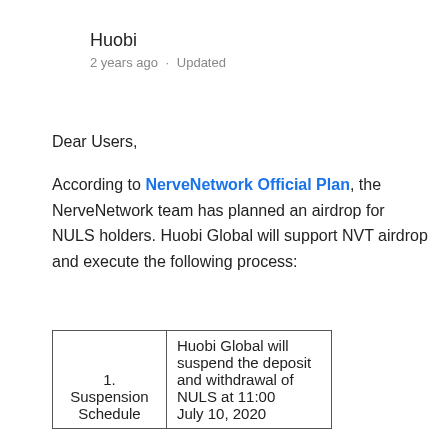Huobi
2 years ago · Updated
Dear Users,
According to NerveNetwork Official Plan, the NerveNetwork team has planned an airdrop for NULS holders. Huobi Global will support NVT airdrop and execute the following process:
|  |  |
| --- | --- |
| 1.
Suspension
Schedule | Huobi Global will suspend the deposit and withdrawal of NULS at 11:00
July 10, 2020 |